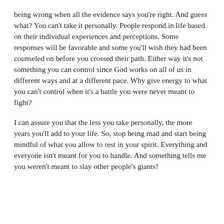being wrong when all the evidence says you're right.  And guess what?  You can't take it personally. People respond in life based on their individual experiences and perceptions.  Some responses will be favorable and some you'll wish they had been counseled on before you crossed their path.  Either way it's not something you can control since God works on all of us in different ways and at a different pace.  Why give energy to what you can't control when it's a battle you were never meant to fight?
I can assure you that the less you take personally, the more years you'll add to your life.  So, stop being mad and start being mindful of what you allow to rest in your spirit.  Everything and everyone isn't meant for you to handle.  And something tells me you weren't meant to slay other people's giants!